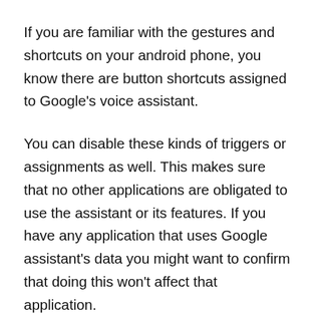If you are familiar with the gestures and shortcuts on your android phone, you know there are button shortcuts assigned to Google's voice assistant.
You can disable these kinds of triggers or assignments as well. This makes sure that no other applications are obligated to use the assistant or its features. If you have any application that uses Google assistant's data you might want to confirm that doing this won't affect that application.
I've checked these settings on a high end